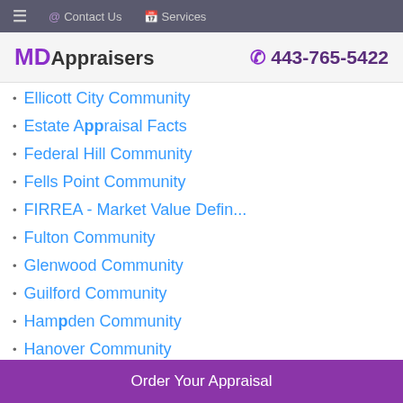≡  @ Contact Us   🗓 Services
MD Appraisers  443-765-5422
Ellicott City Community
Estate Appraisal Facts
Federal Hill Community
Fells Point Community
FIRREA - Market Value Defin...
Fulton Community
Glenwood Community
Guilford Community
Hampden Community
Hanover Community
Harbor East Community
Highest & Best Use Analysis
Order Your Appraisal